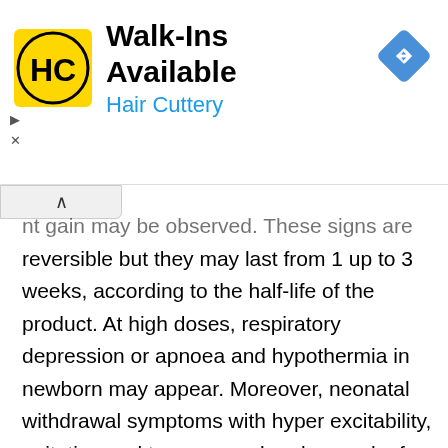[Figure (other): Hair Cuttery advertisement banner with HC logo, 'Walk-Ins Available' heading, and navigation arrow icon]
nt gain may be observed. These signs are reversible but they may last from 1 up to 3 weeks, according to the half-life of the product. At high doses, respiratory depression or apnoea and hypothermia in newborn may appear. Moreover, neonatal withdrawal symptoms with hyper excitability, agitation and tremor may be observed a few days after birth, even if no floppy infant syndrome is observed. The apparition of withdrawal symptoms after birth depends on the half-life of the substance.
Alprazolam should not be used during pregnancy unless the clinical condition of the woman